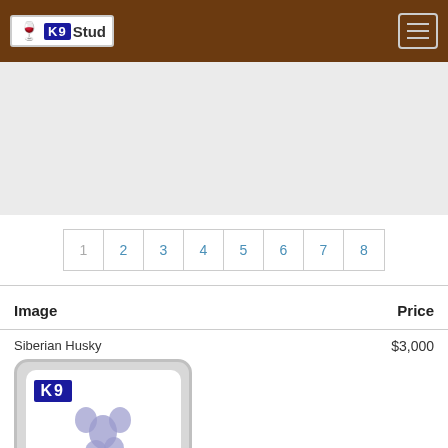K9Stud
[Figure (other): Gray advertisement placeholder area]
1 2 3 4 5 6 7 8
| Image | Price |
| --- | --- |
| Siberian Husky [No Image] | $3,000 |